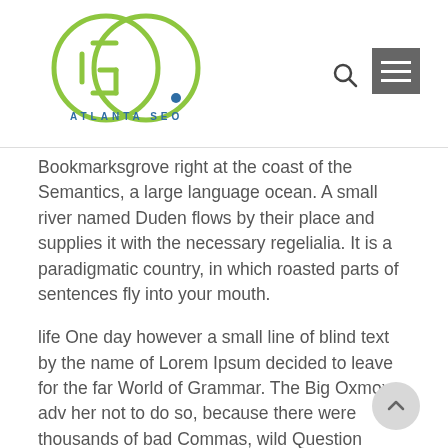[Figure (logo): Go Atlanta SEO logo — two overlapping circles in green with letter G inside, blue dot, text 'ATLANTA SEO' below in blue spaced letters]
Bookmarksgrove right at the coast of the Semantics, a large language ocean. A small river named Duden flows by their place and supplies it with the necessary regelialia. It is a paradigmatic country, in which roasted parts of sentences fly into your mouth.
life One day however a small line of blind text by the name of Lorem Ipsum decided to leave for the far World of Grammar. The Big Oxmox advised her not to do so, because there were thousands of bad Commas, wild Question Marks and